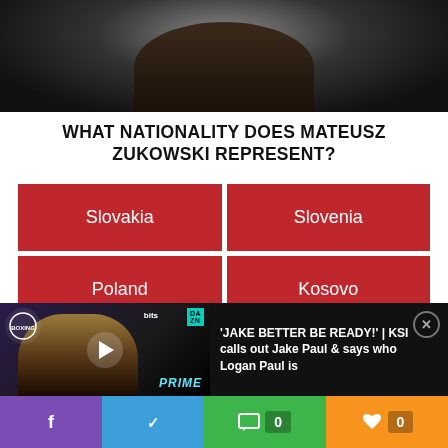[Figure (photo): Photo of Mateusz Zukowski, dark background, person in dark clothing]
WHAT NATIONALITY DOES MATEUSZ ZUKOWSKI REPRESENT?
Slovakia
Slovenia
Poland
Kosovo
[Figure (screenshot): Video thumbnail showing boxing/KSI press conference with DAZN branding, PRIME and bits sponsors visible]
'JAKE BETTER BE READY!' | KSI calls out Jake Paul & says who Logan Paul is
Social share bar with Facebook, Twitter, Comment (0), Like (0)